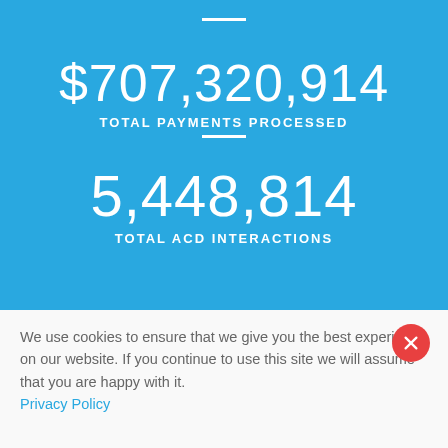$707,320,914
TOTAL PAYMENTS PROCESSED
5,448,814
TOTAL ACD INTERACTIONS
We use cookies to ensure that we give you the best experience on our website. If you continue to use this site we will assume that you are happy with it. Privacy Policy